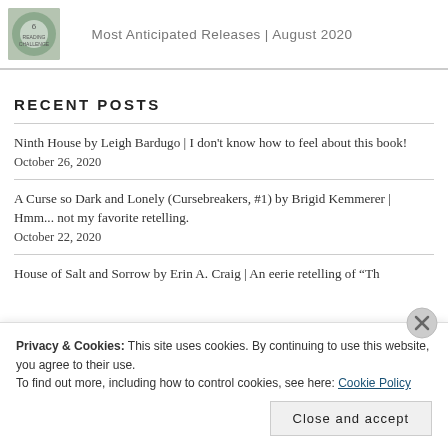[Figure (logo): Small circular logo/book cover image]
Most Anticipated Releases | August 2020
RECENT POSTS
Ninth House by Leigh Bardugo | I don't know how to feel about this book!
October 26, 2020
A Curse so Dark and Lonely (Cursebreakers, #1) by Brigid Kemmerer | Hmm... not my favorite retelling.
October 22, 2020
House of Salt and Sorrow by Erin A. Craig | An eerie retelling of "Th...
Privacy & Cookies: This site uses cookies. By continuing to use this website, you agree to their use.
To find out more, including how to control cookies, see here: Cookie Policy
Close and accept